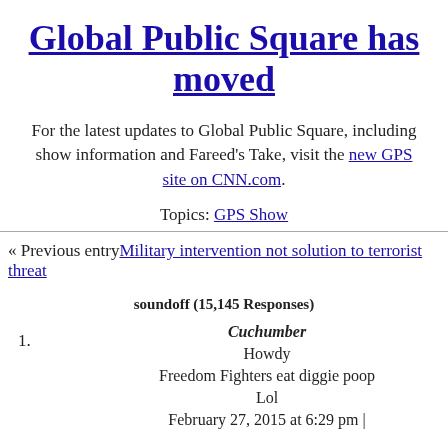Global Public Square has moved
For the latest updates to Global Public Square, including show information and Fareed’s Take, visit the new GPS site on CNN.com.
Topics: GPS Show
« Previous entry Military intervention not solution to terrorist threat
soundoff (15,145 Responses)
1. Cuchumber
Howdy
Freedom Fighters eat diggie poop
Lol
February 27, 2015 at 6:29 pm |